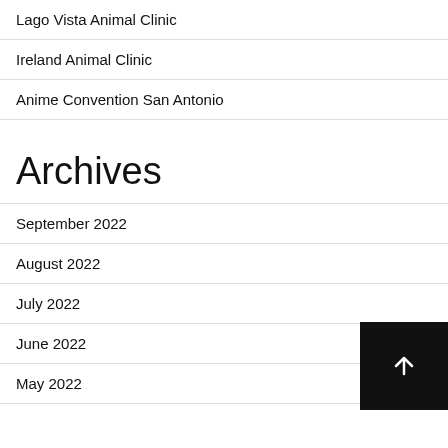Lago Vista Animal Clinic
Ireland Animal Clinic
Anime Convention San Antonio
Archives
September 2022
August 2022
July 2022
June 2022
May 2022